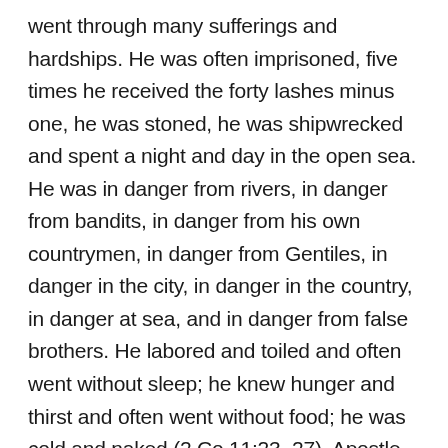went through many sufferings and hardships. He was often imprisoned, five times he received the forty lashes minus one, he was stoned, he was shipwrecked and spent a night and day in the open sea. He was in danger from rivers, in danger from bandits, in danger from his own countrymen, in danger from Gentiles, in danger in the city, in danger in the country, in danger at sea, and in danger from false brothers. He labored and toiled and often went without sleep; he knew hunger and thirst and often went without food; he was cold and naked (2 Co 11:23–27). Apostle Paul received many blessings from God despite going through these severe hardships because he kept his faith until the end.